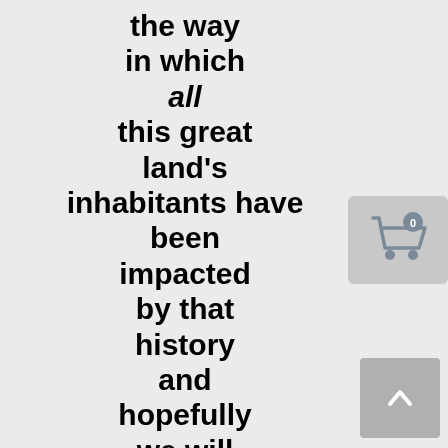the way in which all this great land's inhabitants have been impacted by that history and hopefully we will see more
[Figure (other): Shopping cart icon with badge showing 0]
[Figure (other): Back to top button with upward chevron arrow]